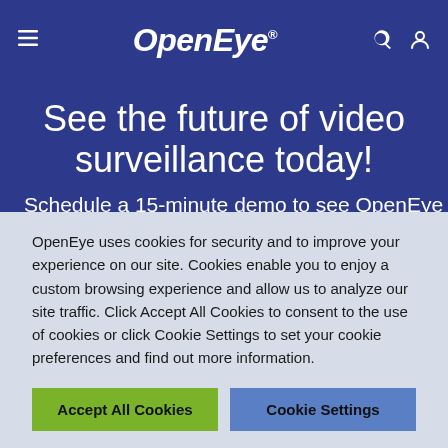OpenEye® — hamburger menu, search, account icons
See the future of video surveillance today!
Schedule a 15-minute demo to see OpenEye
OpenEye uses cookies for security and to improve your experience on our site. Cookies enable you to enjoy a custom browsing experience and allow us to analyze our site traffic. Click Accept All Cookies to consent to the use of cookies or click Cookie Settings to set your cookie preferences and find out more information.
Accept All Cookies | Cookie Settings